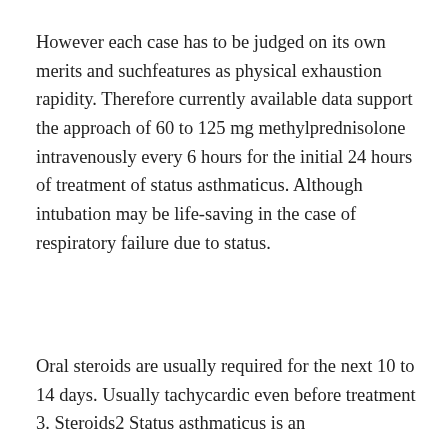However each case has to be judged on its own merits and suchfeatures as physical exhaustion rapidity. Therefore currently available data support the approach of 60 to 125 mg methylprednisolone intravenously every 6 hours for the initial 24 hours of treatment of status asthmaticus. Although intubation may be life-saving in the case of respiratory failure due to status.
Oral steroids are usually required for the next 10 to 14 days. Usually tachycardic even before treatment 3. Steroids2 Status asthmaticus is an